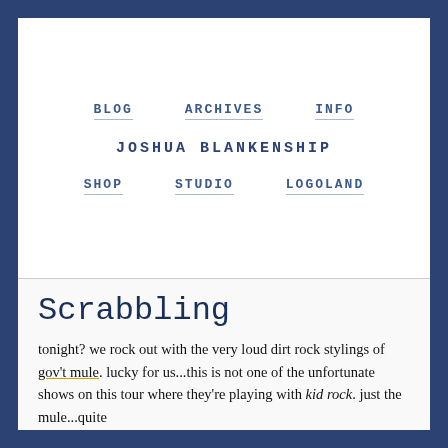BLOG   ARCHIVES   INFO   JOSHUA BLANKENSHIP   SHOP   STUDIO   LOGOLAND
Scrabbling
tonight? we rock out with the very loud dirt rock stylings of gov't mule. lucky for us...this is not one of the unfortunate shows on this tour where they're playing with kid rock. just the mule...quite